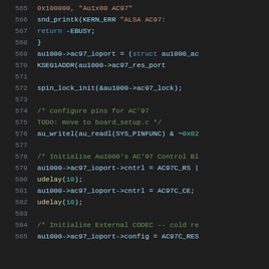[Figure (screenshot): Source code listing (C language) with line numbers 565-585, dark theme editor background. Shows audio driver initialization code for Au1000 AC97 controller.]